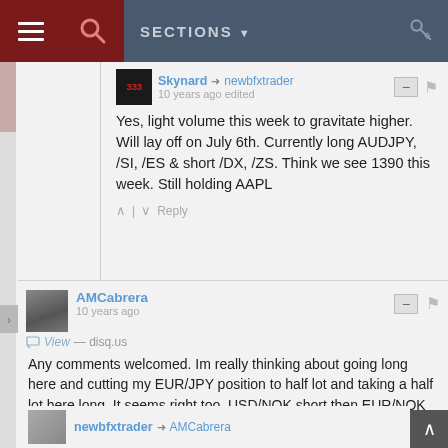SECTIONS
Skynard → newbfxtrader
10 years ago edited

Yes, light volume this week to gravitate higher. Will lay off on July 6th. Currently long AUDJPY, /SI, /ES & short /DX, /ZS. Think we see 1390 this week. Still holding AAPL
AMCabrera
10 years ago

View — disq.us

Any comments welcomed. Im really thinking about going long here and cutting my EUR/JPY position to half lot and taking a half lot here long. It seems right too. USD/NOK short then EUR/NOK long. This is a weekly chart.
newbfxtrader → AMCabrera